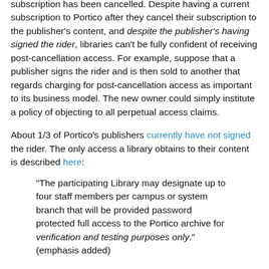subscription has been cancelled. Despite having a current subscription to Portico after they cancel their subscription to the publisher's content, and despite the publisher's having signed the rider, libraries can't be fully confident of receiving post-cancellation access. For example, suppose that a publisher signs the rider and is then sold to another that regards charging for post-cancellation access as important to its business model. The new owner could simply institute a policy of objecting to all perpetual access claims.
About 1/3 of Portico's publishers currently have not signed the rider. The only access a library obtains to their content is described here:
"The participating Library may designate up to four staff members per campus or system branch that will be provided password protected full access to the Portico archive for verification and testing purposes only." (emphasis added)
It is clear that a scrupulous library cannot look on Portico as